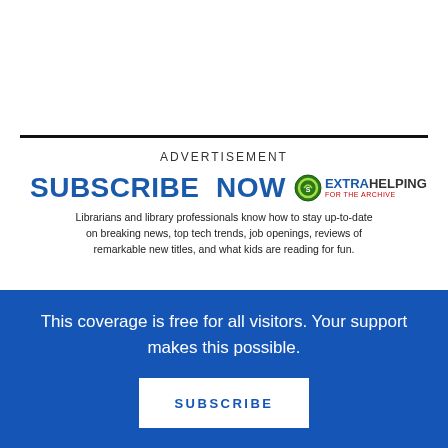ADVERTISEMENT
[Figure (infographic): Subscribe Now advertisement for Extra Helping newsletter. Shows 'SUBSCRIBE NOW' in bold blue text with Extra Helping logo, followed by body text about librarians and library professionals staying up-to-date, and a blurred photo of people in a library.]
This coverage is free for all visitors. Your support makes this possible.
SUBSCRIBE